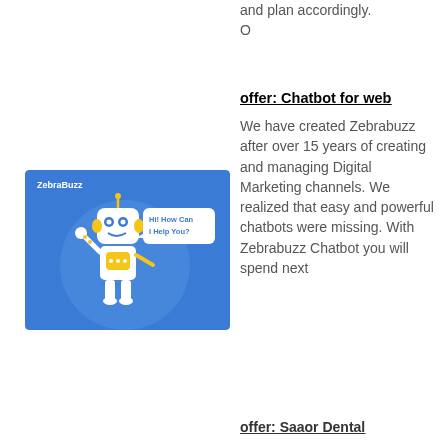and plan accordingly.
O
offer: Chatbot for web
We have created Zebrabuzz after over 15 years of creating and managing Digital Marketing channels. We realized that easy and powerful chatbots were missing. With Zebrabuzz Chatbot you will spend next
[Figure (illustration): ZebraBuzz chatbot mascot — a blue and yellow robot waving, with a speech bubble saying 'Hi! How Can I Help You?' on a blue background with the ZebraBuzz logo]
offer: Saaor Dental